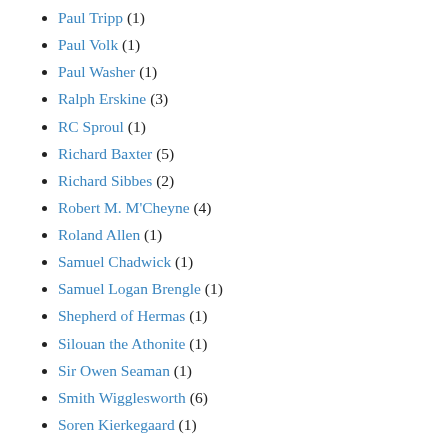Paul Tripp (1)
Paul Volk (1)
Paul Washer (1)
Ralph Erskine (3)
RC Sproul (1)
Richard Baxter (5)
Richard Sibbes (2)
Robert M. M'Cheyne (4)
Roland Allen (1)
Samuel Chadwick (1)
Samuel Logan Brengle (1)
Shepherd of Hermas (1)
Silouan the Athonite (1)
Sir Owen Seaman (1)
Smith Wigglesworth (6)
Soren Kierkegaard (1)